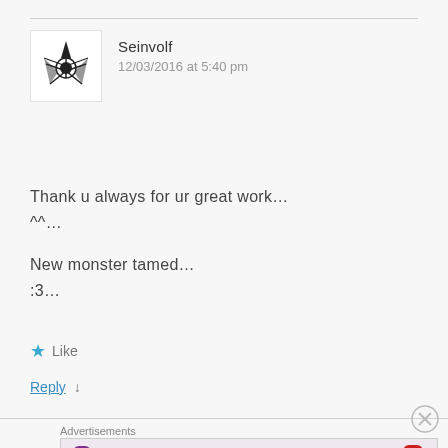Seinvolf
12/03/2016 at 5:40 pm
Thank u always for ur great work…
^^…

New monster tamed…
:3…
Like
Reply ↓
Advertisements
[Figure (photo): MAC cosmetics advertisement showing colorful lipsticks with MAC logo and SHOP NOW box]